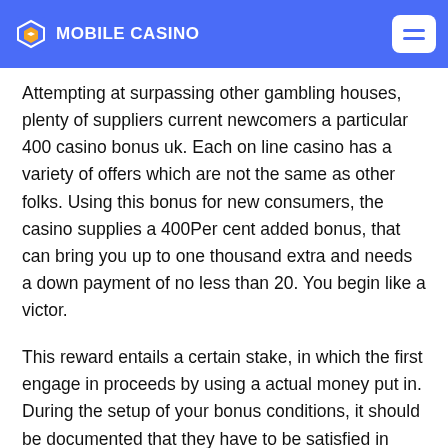MOBILE CASINO
Attempting at surpassing other gambling houses, plenty of suppliers current newcomers a particular 400 casino bonus uk. Each on line casino has a variety of offers which are not the same as other folks. Using this bonus for new consumers, the casino supplies a 400Per cent added bonus, that can bring you up to one thousand extra and needs a down payment of no less than 20. You begin like a victor.
This reward entails a certain stake, in which the first engage in proceeds by using a actual money put in. During the setup of your bonus conditions, it should be documented that they have to be satisfied in certain length of time and the highest risk is often minimal.
Further more to this particular, numerous game playing activities impart various percent amounts to the betting requirements' implementation. While almost all slots